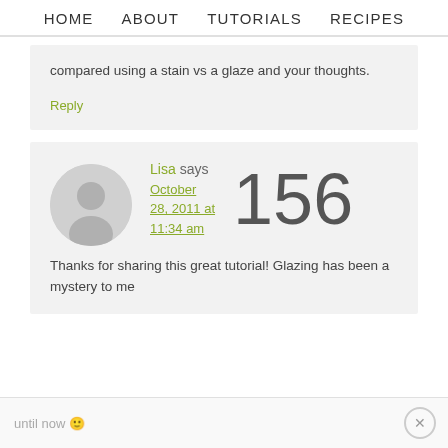HOME   ABOUT   TUTORIALS   RECIPES
compared using a stain vs a glaze and your thoughts.
Reply
Lisa says October 28, 2011 at 11:34 am
156
Thanks for sharing this great tutorial! Glazing has been a mystery to me until now 🙂